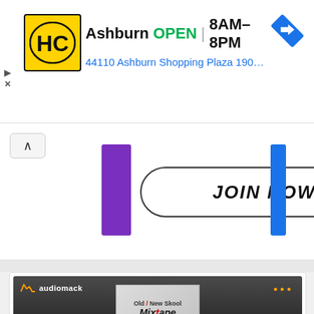[Figure (screenshot): Ad banner for HC (Harriet Carter) store in Ashburn showing logo, OPEN status, hours 8AM-8PM, and address 44110 Ashburn Shopping Plaza 190, A..., with a blue navigation arrow icon]
[Figure (screenshot): Partially visible Join Now button section with purple bar on left, outlined Join Now button in center, and blue bar on right, with chevron-up icon]
[Figure (screenshot): Audiomack music player embed showing DJ Amacoz - Old x New Skool Mixtape with album art (boombox image), waveform display, and timestamps 0:00 and 1:10:32]